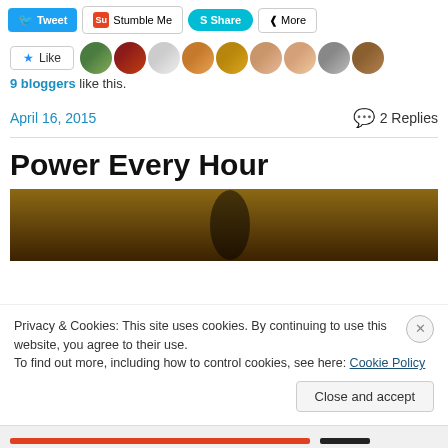[Figure (screenshot): Social sharing buttons row: Tweet (blue), Stumble Me (red icon), Share (teal), More (grey)]
[Figure (screenshot): Like button with star icon and row of 9 blogger avatar thumbnails]
9 bloggers like this.
April 16, 2015
2 Replies
Power Every Hour
[Figure (photo): Dark brown/amber toned photo, appears to show a silhouetted figure or object against warm background]
Privacy & Cookies: This site uses cookies. By continuing to use this website, you agree to their use.
To find out more, including how to control cookies, see here: Cookie Policy
Close and accept